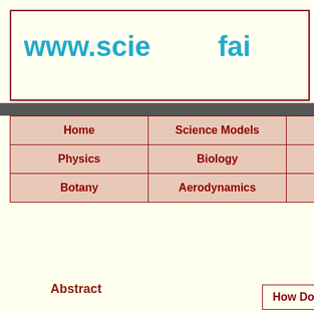www.scie... fai...
Tweet
Follow @addthis
Share
[Figure (screenshot): Reddit orange square icon]
0
Share
| Home | Science Models | Schoo... |
| Physics | Biology | Math... |
| Botany | Aerodynamics | Earth... |
How Does C... fluence
Abstract
Related Projects :
Is Spinach...